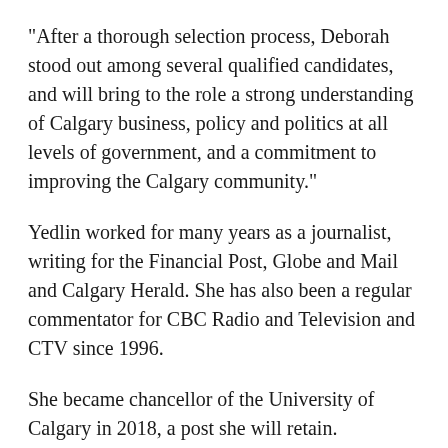"After a thorough selection process, Deborah stood out among several qualified candidates, and will bring to the role a strong understanding of Calgary business, policy and politics at all levels of government, and a commitment to improving the Calgary community."
Yedlin worked for many years as a journalist, writing for the Financial Post, Globe and Mail and Calgary Herald. She has also been a regular commentator for CBC Radio and Television and CTV since 1996.
She became chancellor of the University of Calgary in 2018, a post she will retain.
"I believe in this city and I believe in its potential, and I'm grateful for the opportunity to play a role in its economic recovery," said Yedlin.